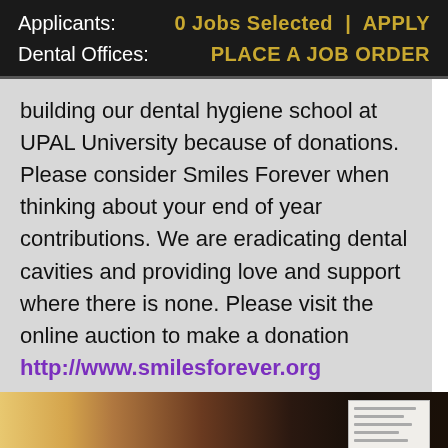Applicants:   0 Jobs Selected | APPLY
Dental Offices:   PLACE A JOB ORDER
building our dental hygiene school at UPAL University because of donations. Please consider Smiles Forever when thinking about your end of year contributions. We are eradicating dental cavities and providing love and support where there is none. Please visit the online auction to make a donation http://www.smilesforever.org
[Figure (photo): Photo of a person with dark hair, partially visible, with a light-colored background and a small note/paper visible on the right side]